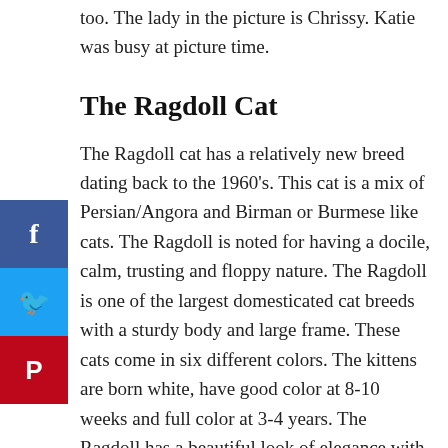too. The lady in the picture is Chrissy. Katie was busy at picture time.
The Ragdoll Cat
The Ragdoll cat has a relatively new breed dating back to the 1960's. This cat is a mix of Persian/Angora and Birman or Burmese like cats. The Ragdoll is noted for having a docile, calm, trusting and floppy nature. The Ragdoll is one of the largest domesticated cat breeds with a sturdy body and large frame. These cats come in six different colors. The kittens are born white, have good color at 8-10 weeks and full color at 3-4 years. The Ragdoll has a beautiful look of elegance with coat that feels soft and silky. These kitties are easy going and like being held and enjoy playing. They also like water and might jump in the tub with you.